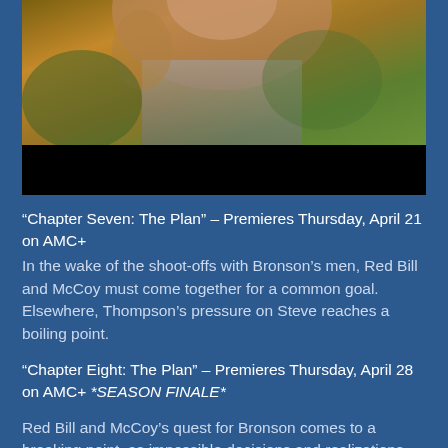[Figure (photo): A person photographed outdoors, upper body visible. The top portion shows a warm-toned outdoor scene (browns, golds, greens). The bottom portion of the image frame is black.]
“Chapter Seven: The Plan” – Premieres Thursday, April 21 on AMC+
In the wake of the shoot-offs with Bronson’s men, Red Bill and McCoy must come together for a common goal. Elsewhere, Thompson’s pressure on Steve reaches a boiling point.
“Chapter Eight: The Plan” – Premieres Thursday, April 28 on AMC+ *SEASON FINALE*
Red Bill and McCoy’s quest for Bronson comes to a breaking point, as impossible decisions and realizations are made. Bronson takes a new step toward power, and